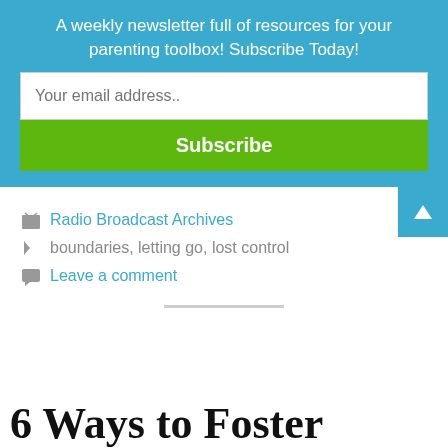A weekly newsletter full of resources for your parenting toolbox! Subscribe Today!
Your email address..
Subscribe
Radio Broadcast Archives
boundaries, letting go, lost control
Leave a comment
6 Ways to Foster